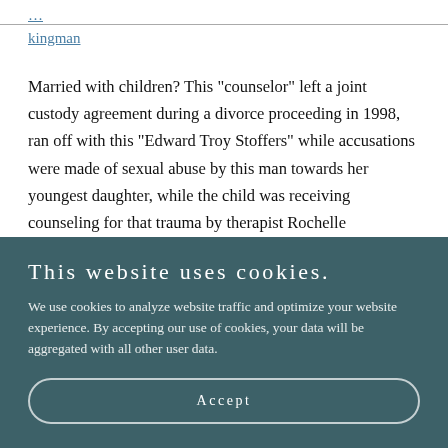kingman
Married with children? This "counselor" left a joint custody agreement during a divorce proceeding in 1998, ran off with this "Edward Troy Stoffers" while accusations were made of sexual abuse by this man towards her youngest daughter, while the child was receiving counseling for that trauma by therapist Rochelle
This website uses cookies.
We use cookies to analyze website traffic and optimize your website experience. By accepting our use of cookies, your data will be aggregated with all other user data.
Accept